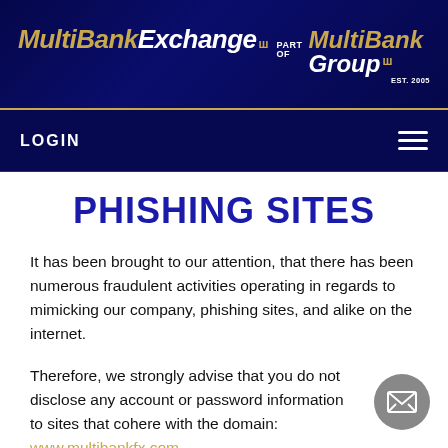MultiBankExchange part of MultiBank Group EST. 2005
LOGIN
PHISHING SITES
It has been brought to our attention, that there has been numerous fraudulent activities operating in regards to mimicking our company, phishing sites, and alike on the internet.
Therefore, we strongly advise that you do not disclose any account or password information to sites that cohere with the domain: www.multibankfx.com